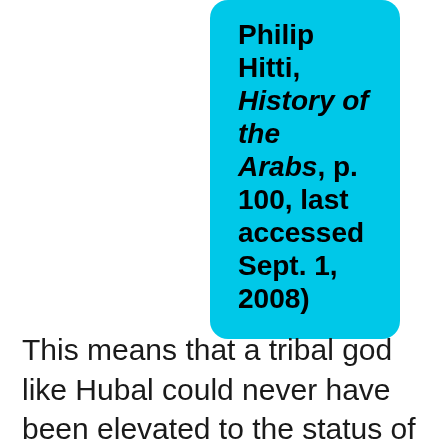Philip Hitti, History of the Arabs, p. 100, last accessed Sept. 1, 2008)
This means that a tribal god like Hubal could never have been elevated to the status of the One and Only Creator of the whole universe, Allah; but a god worshiped by the Moabites and later by the pagan Quraish in